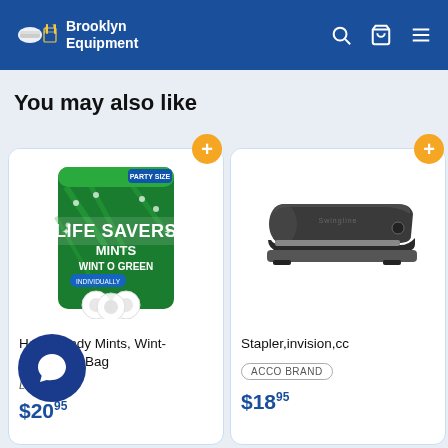Brooklyn Equipment
You may also like
[Figure (photo): Life Savers Mints Wint-O-Green Party Size bag product image]
Hard Candy Mints, Wint-, 44.93 Oz Bag
Life Savers®
$20.95
[Figure (photo): Stapler,invision,cc — black office stapler product image]
Stapler,invision,cc
ACCO BRAND
$18.95
Hi- Di- Oz